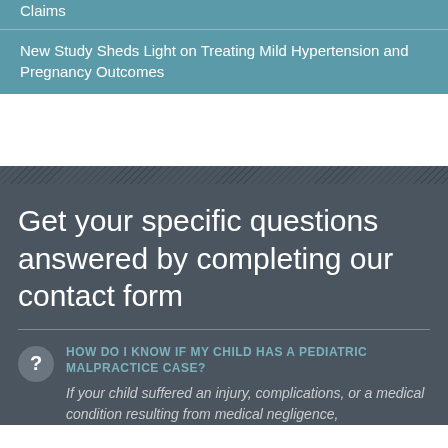Claims
New Study Sheds Light on Treating Mild Hypertension and Pregnancy Outcomes
Get your specific questions answered by completing our contact form
HOW DO I KNOW IF MY CHILD HAS A PEDIATRIC MALPRACTICE CASE?
If your child suffered an injury, complications, or a medical condition resulting from medical negligence,